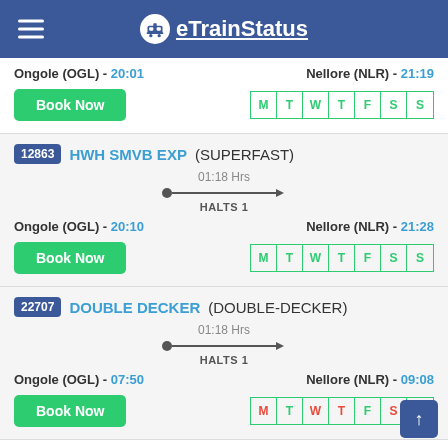eTrainStatus
Ongole (OGL) - 20:01   Nellore (NLR) - 21:19   Days: M T W T F S S
Book Now
12863 HWH SMVB EXP (SUPERFAST)
01:18 Hrs  HALTS 1
Ongole (OGL) - 20:10   Nellore (NLR) - 21:28   Days: M T W T F S S
Book Now
22707 DOUBLE DECKER (DOUBLE-DECKER)
01:18 Hrs  HALTS 1
Ongole (OGL) - 07:50   Nellore (NLR) - 09:08   Days: M T W T F S S
Book Now
12078 JAN SHATABDI (JAN-SHATABDI)